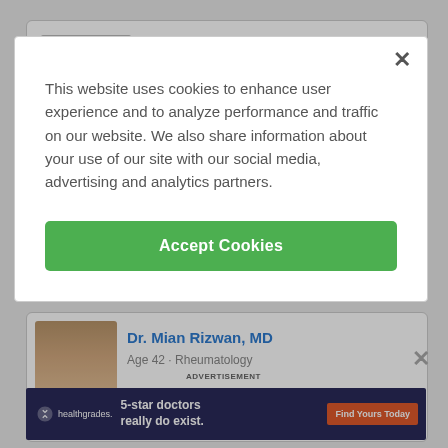[Figure (screenshot): Background website page showing doctor listing cards partially visible behind a cookie consent modal overlay. Shows a telehealth badge and a doctor profile card for Dr. Mian Rizwan MD, and a healthgrades advertisement banner.]
This website uses cookies to enhance user experience and to analyze performance and traffic on our website. We also share information about your use of our site with our social media, advertising and analytics partners.
Accept Cookies
ADVERTISEMENT
Dr. Mian Rizwan, MD
Age 42 · Rheumatology
5-star doctors really do exist.
Find Yours Today